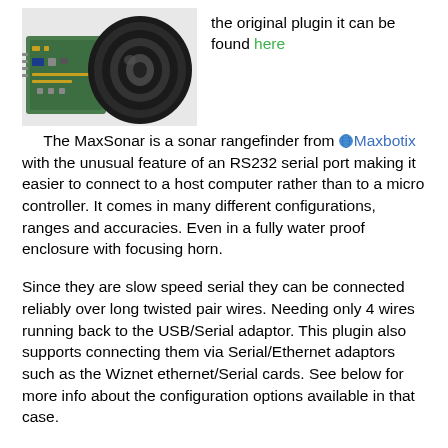[Figure (photo): Photo of a MaxSonar sonar rangefinder device with a circular transducer and green circuit board]
the original plugin it can be found here
The MaxSonar is a sonar rangefinder from Maxbotix with the unusual feature of an RS232 serial port making it easier to connect to a host computer rather than to a micro controller. It comes in many different configurations, ranges and accuracies. Even in a fully water proof enclosure with focusing horn.
Since they are slow speed serial they can be connected reliably over long twisted pair wires. Needing only 4 wires running back to the USB/Serial adaptor. This plugin also supports connecting them via Serial/Ethernet adaptors such as the Wiznet ethernet/Serial cards. See below for more info about the configuration options available in that case.
Connect via Serial Port: